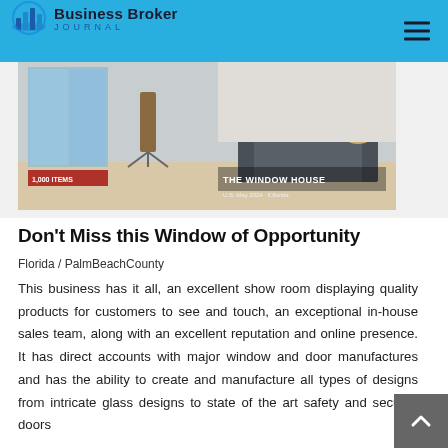Business Broker JOURNAL
[Figure (photo): Interior showroom photo showing window and door products, sofas, with overlaid text 'THE WINDOW HOUSE' and promotional banners]
Don't Miss this Window of Opportunity
Florida / PalmBeachCounty
This business has it all, an excellent show room displaying quality products for customers to see and touch, an exceptional in-house sales team, along with an excellent reputation and online presence. It has direct accounts with major window and door manufactures and has the ability to create and manufacture all types of designs from intricate glass designs to state of the art safety and security doors